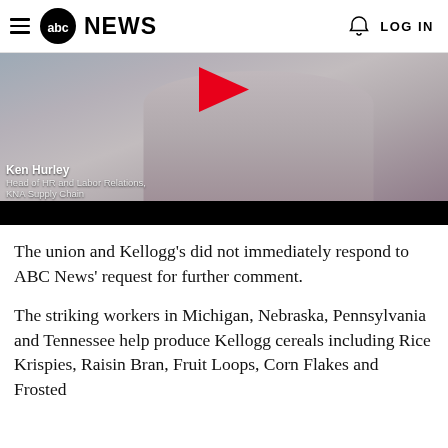abc NEWS  LOG IN
[Figure (screenshot): Video thumbnail showing Ken Hurley, Head of HR and Labor Relations, KNA Supply Chain, with a red play button overlay on the video.]
Ken Hurley
Head of HR and Labor Relations,
KNA Supply Chain
The union and Kellogg's did not immediately respond to ABC News' request for further comment.
The striking workers in Michigan, Nebraska, Pennsylvania and Tennessee help produce Kellogg cereals including Rice Krispies, Raisin Bran, Fruit Loops, Corn Flakes and Frosted